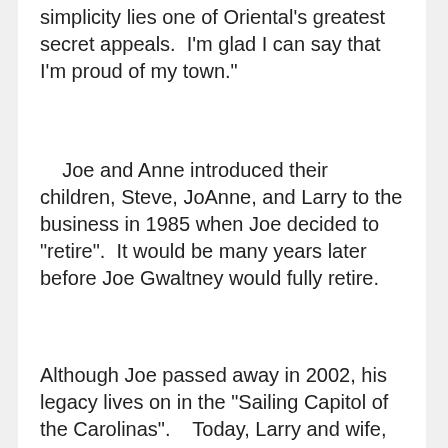simplicity lies one of Oriental's greatest secret appeals.  I'm glad I can say that I'm proud of my town."
Joe and Anne introduced their children, Steve, JoAnne, and Larry to the business in 1985 when Joe decided to "retire".  It would be many years later before Joe Gwaltney would fully retire.
Although Joe passed away in 2002, his legacy lives on in the "Sailing Capitol of the Carolinas".    Today, Larry and wife, Suzanne, continue the family business that Joe Gwaltney began 35 years ago